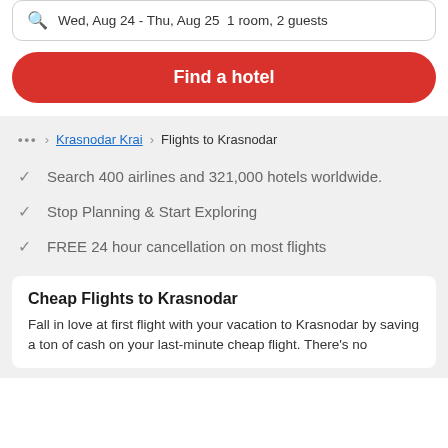Wed, Aug 24 - Thu, Aug 25  1 room, 2 guests
Find a hotel
... > Krasnodar Krai > Flights to Krasnodar
Search 400 airlines and 321,000 hotels worldwide.
Stop Planning & Start Exploring
FREE 24 hour cancellation on most flights
Cheap Flights to Krasnodar
Fall in love at first flight with your vacation to Krasnodar by saving a ton of cash on your last-minute cheap flight. There's no